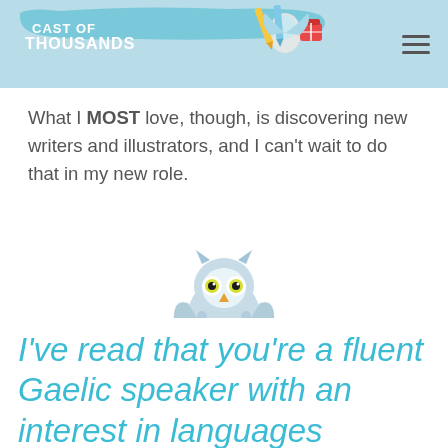Cast of Thousands
What I MOST love, though, is discovering new writers and illustrators, and I can't wait to do that in my new role.
[Figure (illustration): Illustrated blue owl holding a yellow and green book, drawn in a whimsical style]
I've read that you're a fluent Gaelic speaker with an interest in languages